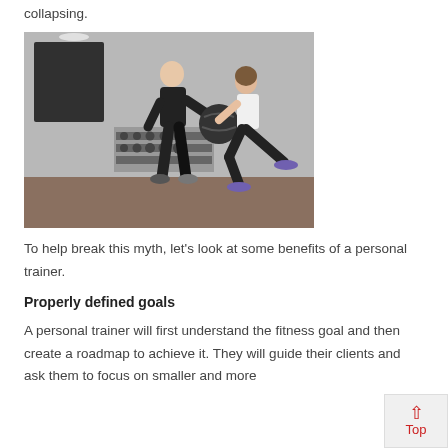collapsing.
[Figure (photo): A personal trainer (man in black) helping a woman in a white tank top doing a lunge while holding a medicine ball, in a gym with dumbbells rack in the background.]
To help break this myth, let's look at some benefits of a personal trainer.
Properly defined goals
A personal trainer will first understand the fitness goal and then create a roadmap to achieve it. They will guide their clients and ask them to focus on smaller and more